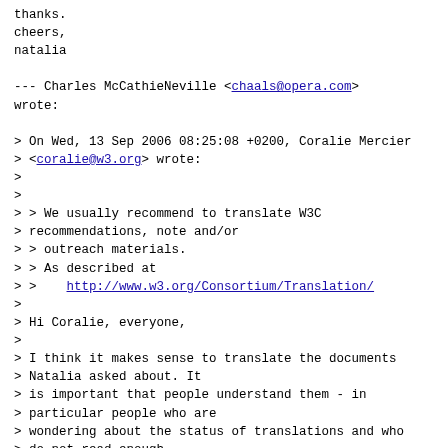thanks.
cheers,
natalia
--- Charles McCathieNeville <chaals@opera.com> wrote:
> On Wed, 13 Sep 2006 08:25:08 +0200, Coralie Mercier
> <coralie@w3.org> wrote:
>
>
> > We usually recommend to translate W3C
> recommendations, note and/or
> > outreach materials.
> > As described at
> >    http://www.w3.org/Consortium/Translation/
>
> Hi Coralie, everyone,
>
> I think it makes sense to translate the documents
> Natalia asked about. It
> is important that people understand them - in
> particular people who are
> wondering about the status of translations and who
> do not read enough
> english to clearly understand the official
> versions.